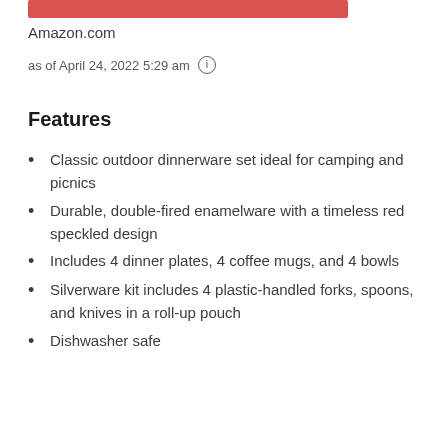[Figure (other): Red horizontal bar graphic at top]
Amazon.com
as of April 24, 2022 5:29 am ℹ
Features
Classic outdoor dinnerware set ideal for camping and picnics
Durable, double-fired enamelware with a timeless red speckled design
Includes 4 dinner plates, 4 coffee mugs, and 4 bowls
Silverware kit includes 4 plastic-handled forks, spoons, and knives in a roll-up pouch
Dishwasher safe